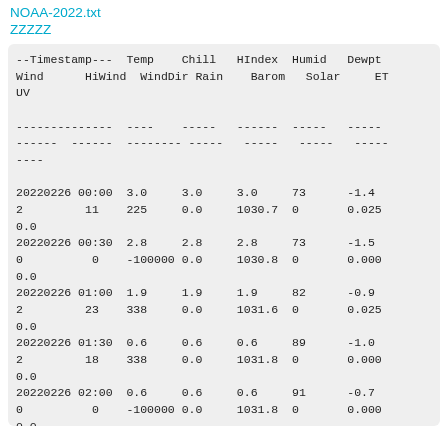NOAA-2022.txt
ZZZZZ
| Timestamp | Temp | Chill | HIndex | Humid | Dewpt | Wind | HiWind | WindDir | Rain | Barom | Solar | ET | UV |
| --- | --- | --- | --- | --- | --- | --- | --- | --- | --- | --- | --- | --- | --- |
| 20220226 00:00 | 3.0 | 3.0 | 3.0 | 73 | -1.4 | 2 | 11 | 225 | 0.0 | 1030.7 | 0 | 0.025 | 0.0 |
| 20220226 00:30 | 2.8 | 2.8 | 2.8 | 73 | -1.5 | 0 | 0 | -100000 | 0.0 | 1030.8 | 0 | 0.000 | 0.0 |
| 20220226 01:00 | 1.9 | 1.9 | 1.9 | 82 | -0.9 | 2 | 23 | 338 | 0.0 | 1031.6 | 0 | 0.025 | 0.0 |
| 20220226 01:30 | 0.6 | 0.6 | 0.6 | 89 | -1.0 | 2 | 18 | 338 | 0.0 | 1031.8 | 0 | 0.000 | 0.0 |
| 20220226 02:00 | 0.6 | 0.6 | 0.6 | 91 | -0.7 | 0 | 0 | -100000 | 0.0 | 1031.8 | 0 | 0.000 | 0.0 |
| 20220226 02:30 | 0.7 | 0.7 | 0.7 | 92 | -0.4 | 0 | 0 | -100000 | 0.0 | 1031.8 | 0 | 0.000 | 0.0 |